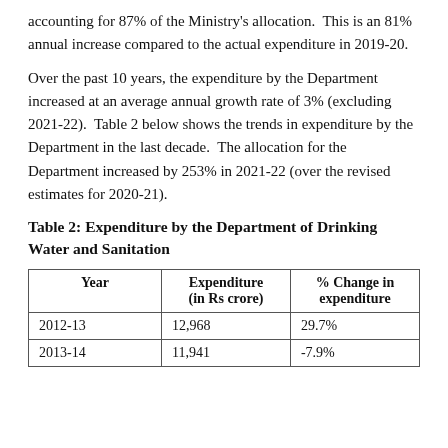accounting for 87% of the Ministry's allocation. This is an 81% annual increase compared to the actual expenditure in 2019-20.
Over the past 10 years, the expenditure by the Department increased at an average annual growth rate of 3% (excluding 2021-22). Table 2 below shows the trends in expenditure by the Department in the last decade. The allocation for the Department increased by 253% in 2021-22 (over the revised estimates for 2020-21).
Table 2: Expenditure by the Department of Drinking Water and Sanitation
| Year | Expenditure (in Rs crore) | % Change in expenditure |
| --- | --- | --- |
| 2012-13 | 12,968 | 29.7% |
| 2013-14 | 11,941 | -7.9% |